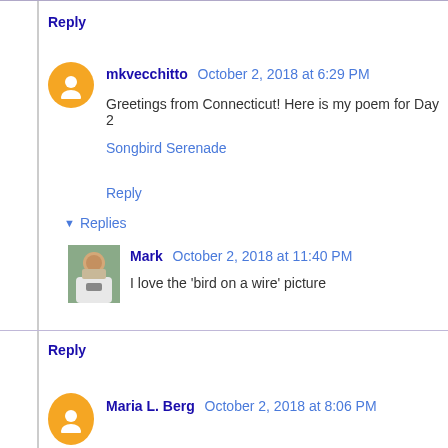Reply
mkvecchitto  October 2, 2018 at 6:29 PM
Greetings from Connecticut! Here is my poem for Day 2
Songbird Serenade
Reply
▼ Replies
[Figure (photo): User avatar photo of Mark, a man in a white shirt holding a guitar]
Mark  October 2, 2018 at 11:40 PM
I love the 'bird on a wire' picture
Reply
Maria L. Berg  October 2, 2018 at 8:06 PM